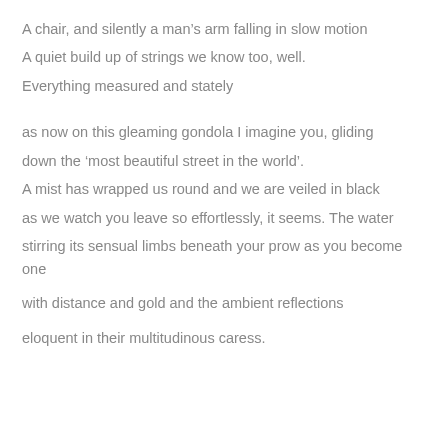A chair, and silently a man’s arm falling in slow motion
A quiet build up of strings we know too, well.
Everything measured and stately
as now on this gleaming gondola I imagine you, gliding
down the ‘most beautiful street in the world’.
A mist has wrapped us round and we are veiled in black
as we watch you leave so effortlessly, it seems. The water
stirring its sensual limbs beneath your prow as you become one
with distance and gold and the ambient reflections
eloquent in their multitudinous caress.